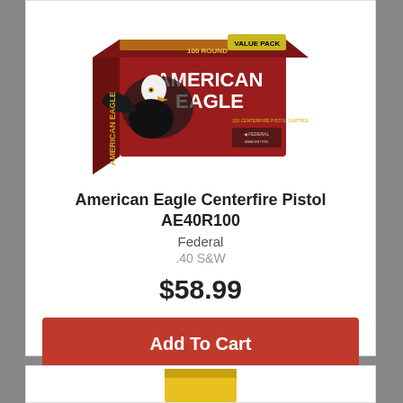[Figure (photo): American Eagle Centerfire Pistol 100 Round Value Pack ammunition box by Federal, red box with bald eagle image, on white background]
American Eagle Centerfire Pistol AE40R100
Federal
.40 S&W
$58.99
Add To Cart
[Figure (photo): Partial view of a second product at the bottom of the page, yellow packaging visible]